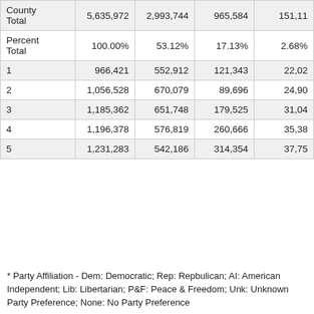|  | Total | Dem | Rep | AI (partial) |
| --- | --- | --- | --- | --- |
| County Total | 5,635,972 | 2,993,744 | 965,584 | 151,11… |
| Percent Total | 100.00% | 53.12% | 17.13% | 2.68%… |
| 1 | 966,421 | 552,912 | 121,343 | 22,02… |
| 2 | 1,056,528 | 670,079 | 89,696 | 24,90… |
| 3 | 1,185,362 | 651,748 | 179,525 | 31,04… |
| 4 | 1,196,378 | 576,819 | 260,666 | 35,38… |
| 5 | 1,231,283 | 542,186 | 314,354 | 37,75… |
* Party Affiliation - Dem: Democratic; Rep: Repbulican; AI: American Independent; Lib: Libertarian; P&F: Peace & Freedom; Unk: Unknown Party Preference; None: No Party Preference